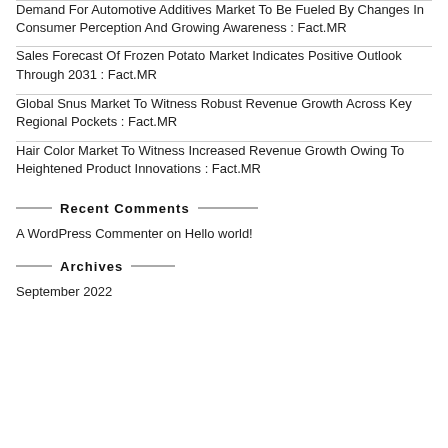Demand For Automotive Additives Market To Be Fueled By Changes In Consumer Perception And Growing Awareness : Fact.MR
Sales Forecast Of Frozen Potato Market Indicates Positive Outlook Through 2031 : Fact.MR
Global Snus Market To Witness Robust Revenue Growth Across Key Regional Pockets : Fact.MR
Hair Color Market To Witness Increased Revenue Growth Owing To Heightened Product Innovations : Fact.MR
Recent Comments
A WordPress Commenter on Hello world!
Archives
September 2022